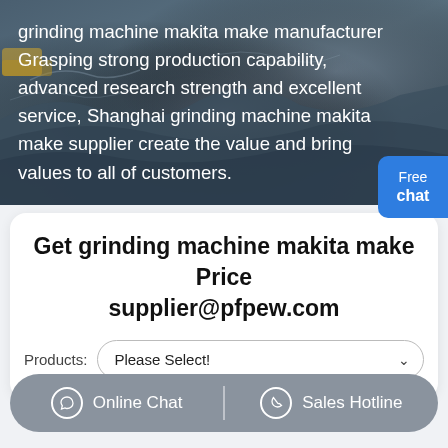[Figure (photo): Aerial photo of a mining or quarry site with blue-grey rocky terrain, used as hero background image]
grinding machine makita make manufacturer Grasping strong production capability, advanced research strength and excellent service, Shanghai grinding machine makita make supplier create the value and bring values to all of customers.
Get grinding machine makita make Price
supplier@pfpew.com
Products: Please Select!
Online Chat   Sales Hotline